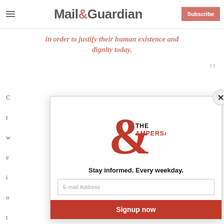Mail & Guardian | Subscribe
in order to justify their human existence and dignity today.
C [article text partially obscured by modal]
[Figure (screenshot): Mail & Guardian newsletter signup modal with The Ampersand logo, 'Stay informed. Every weekday.' tagline, an E-mail Address input field, and a red 'Signup now' button.]